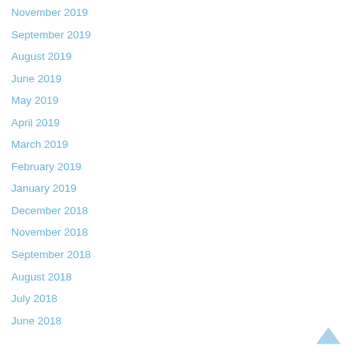November 2019
September 2019
August 2019
June 2019
May 2019
April 2019
March 2019
February 2019
January 2019
December 2018
November 2018
September 2018
August 2018
July 2018
June 2018